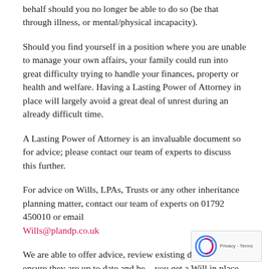behalf should you no longer be able to do so (be that through illness, or mental/physical incapacity).
Should you find yourself in a position where you are unable to manage your own affairs, your family could run into great difficulty trying to handle your finances, property or health and welfare. Having a Lasting Power of Attorney in place will largely avoid a great deal of unrest during an already difficult time.
A Lasting Power of Attorney is an invaluable document so for advice; please contact our team of experts to discuss this further.
For advice on Wills, LPAs, Trusts or any other inheritance planning matter, contact our team of experts on 01792 450010 or email Wills@plandp.co.uk
We are able to offer advice, review existing documents to ensure they are up to date and help you get a Will in place without the need for a face-to-